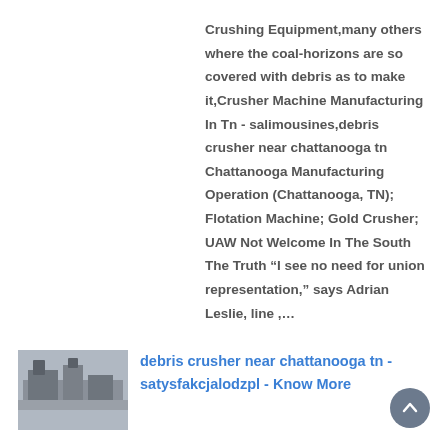Crushing Equipment,many others where the coal-horizons are so covered with debris as to make it,Crusher Machine Manufacturing In Tn - salimousines,debris crusher near chattanooga tn Chattanooga Manufacturing Operation (Chattanooga, TN); Flotation Machine; Gold Crusher; UAW Not Welcome In The South The Truth “I see no need for union representation,” says Adrian Leslie, line ,...
[Figure (photo): Thumbnail image of industrial crushing/manufacturing equipment]
debris crusher near chattanooga tn - satysfakcjalodzpl - Know More